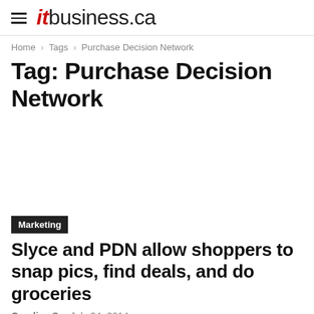itbusiness.ca
Home › Tags › Purchase Decision Network
Tag: Purchase Decision Network
Marketing
Slyce and PDN allow shoppers to snap pics, find deals, and do groceries
Candice So  July 24, 2014